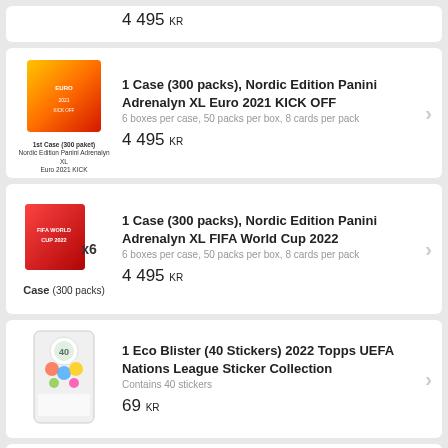[Figure (other): Partial product card showing price 4 495 KR at top]
[Figure (other): Product image: 1st Case (300 paket) Nordic Edition Panini Adrenalyn XL Euro 2021 KICK orange box]
1 Case (300 packs), Nordic Edition Panini Adrenalyn XL Euro 2021 KICK OFF
6 boxes per case, 50 packs per box, 8 cards per pack
4 495 KR
[Figure (other): Product image: Case (300 packs) Nordic Edition Panini Adrenalyn XL FIFA World Cup 2022 red box x6]
1 Case (300 packs), Nordic Edition Panini Adrenalyn XL FIFA World Cup 2022
6 boxes per case, 50 packs per box, 8 cards per pack
4 495 KR
[Figure (other): Product image: 1 Eco Blister (40 Stickers) 2022 Topps UEFA Nations League Sticker Collection white packaging]
1 Eco Blister (40 Stickers) 2022 Topps UEFA Nations League Sticker Collection
Contains 40 stickers
69 KR